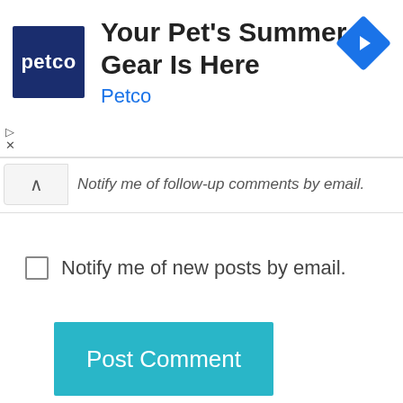[Figure (screenshot): Petco advertisement banner with logo, headline 'Your Pet's Summer Gear Is Here', subtext 'Petco', and a blue diamond navigation icon in the top right. Play and close controls visible at bottom left of ad.]
Notify me of follow-up comments by email.
Notify me of new posts by email.
Post Comment